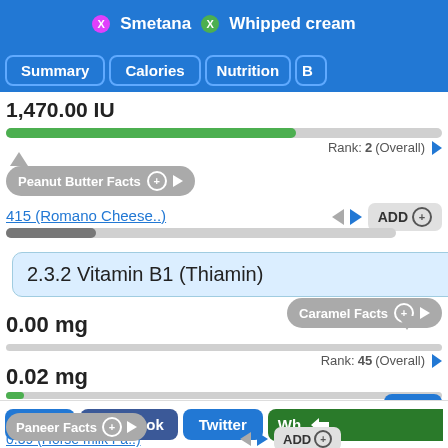X Smetana  X Whipped cream
Summary | Calories | Nutrition | B
1,470.00 IU
Rank: 2 (Overall)
Peanut Butter Facts
415 (Romano Cheese..)  ADD
2.3.2 Vitamin B1 (Thiamin)
Caramel Facts
0.00 mg
Rank: 45 (Overall)
0.02 mg
Rank: 34 (Overall)
Paneer Facts
0.39 (Horse milk Fa..)  ADD
Top
ADD Compare
Share  Facebook  Twitter  Wh